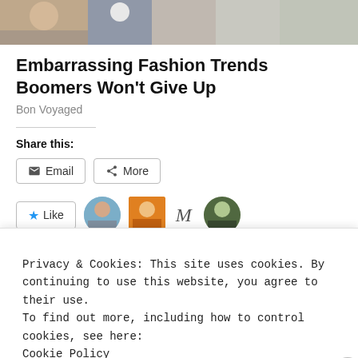[Figure (photo): Top banner image showing people, partially visible at top of page]
Embarrassing Fashion Trends Boomers Won't Give Up
Bon Voyaged
Share this:
Email
More
Like
Privacy & Cookies: This site uses cookies. By continuing to use this website, you agree to their use.
To find out more, including how to control cookies, see here: Cookie Policy
Close and accept